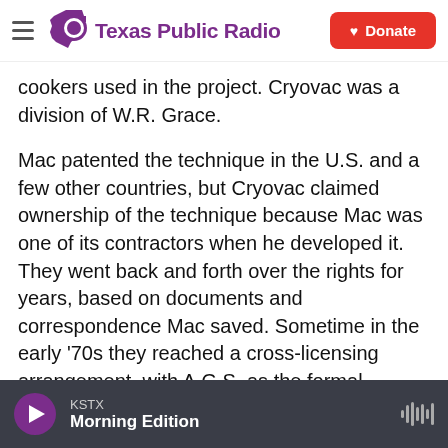Texas Public Radio
cookers used in the project. Cryovac was a division of W.R. Grace.
Mac patented the technique in the U.S. and a few other countries, but Cryovac claimed ownership of the technique because Mac was one of its contractors when he developed it. They went back and forth over the rights for years, based on documents and correspondence Mac saved. Sometime in the early '70s they reached a cross-licensing arrangement, with A.G.S. as the formal assignee for Mac's patent.
[Figure (photo): Partial view of a document or image, cropped at bottom of article area]
KSTX
Morning Edition